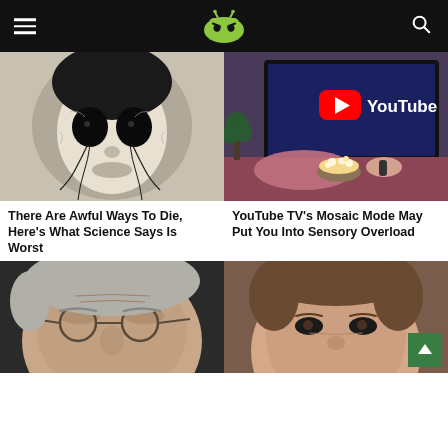Android Authority - navigation header with logo, hamburger menu, and search
[Figure (photo): Black and white horror image of a face with dark black eyes and cracked skin with dark veins]
There Are Awful Ways To Die, Here's What Science Says Is Worst
[Figure (photo): Person lying on couch holding TV remote and bowl of popcorn with a TV showing YouTube logo in the background]
YouTube TV's Mosaic Mode May Put You Into Sensory Overload
[Figure (photo): Partial face of an older man with glasses, gray hair, cropped at bottom]
[Figure (photo): Partial face of a young man with brown hair, cropped at bottom]